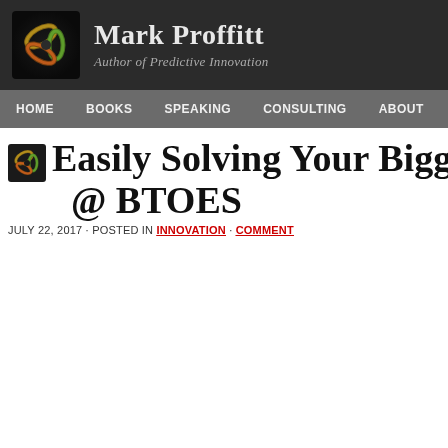Mark Proffitt — Author of Predictive Innovation
HOME · BOOKS · SPEAKING · CONSULTING · ABOUT
Easily Solving Your Biggest Futu… @ BTOES
JULY 22, 2017 · POSTED IN INNOVATION · COMMENT